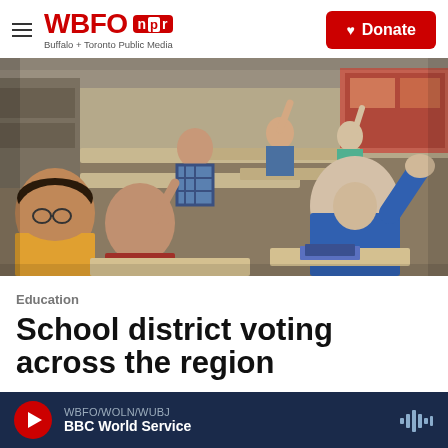WBFO NPR — Buffalo + Toronto Public Media | Donate
[Figure (photo): Students in a classroom with their hands raised, sitting at desks. A girl in a blue hoodie is prominent in the foreground reaching her hand up.]
Education
School district voting across the region
May 19, 2015
WBFO/WOLN/WUBJ BBC World Service